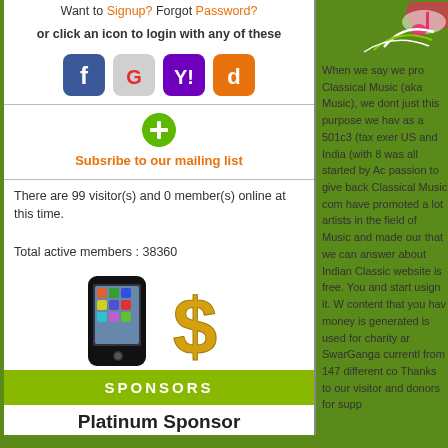Want to Signup? Forgot Password?
or click an icon to login with any of these
[Figure (illustration): Social login icons: Facebook (blue), Google (gray), Yahoo (purple), D icon (orange)]
Subsribe to our mailing list
There are 99 visitor(s) and 0 member(s) online at this time.

Total active members : 38360
[Figure (illustration): Smartphone image and gold dollar sign graphic]
SPONSORS
Platinum Sponsor
[Figure (illustration): Decorative music note and swirl graphic in top right corner]
When we say we pro Classical Music (aka Music), we dont just this purpose we hav as a 501c3 (tax exer US and India (with 8 was all started by Ac passion to give back Classical Music com have promoted a lot artists in the field of Music and made our that we can answer about Indian Classic website is free. You and start usign it. W content that you hav money is generated is used for charity ar SwarGanga currentl from 147 different co Thanks to our visitor and donors for supp